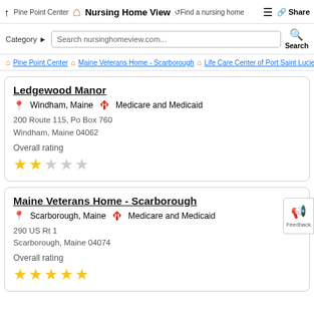Pine Point Center  Nursing Home View  Find a nursing home  Share
Category  Search nursinghomeview.com...  Search
Pine Point Center  Maine Veterans Home - Scarborough  Life Care Center of Port Saint Lucie
Ledgewood Manor
Windham, Maine  Medicare and Medicaid
200 Route 115, Po Box 760
Windham, Maine 04062
Overall rating
★★☆☆☆
Maine Veterans Home - Scarborough
Scarborough, Maine  Medicare and Medicaid
290 US Rt 1
Scarborough, Maine 04074
Overall rating
★★★★★